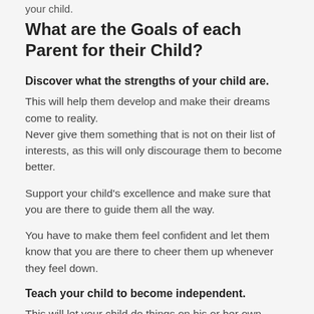your child.
What are the Goals of each Parent for their Child?
Discover what the strengths of your child are.
This will help them develop and make their dreams come to reality.
Never give them something that is not on their list of interests, as this will only discourage them to become better.
Support your child's excellence and make sure that you are there to guide them all the way.
You have to make them feel confident and let them know that you are there to cheer them up whenever they feel down.
Teach your child to become independent.
This will let your child do things on his or her own